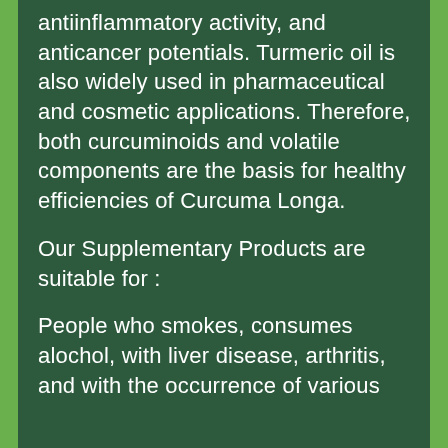antiinflammatory activity, and anticancer potentials. Turmeric oil is also widely used in pharmaceutical and cosmetic applications. Therefore, both curcuminoids and volatile components are the basis for healthy efficiencies of Curcuma Longa.
Our Supplementary Products are suitable for :
People who smokes, consumes alochol, with liver disease, arthritis, and with the occurrence of various